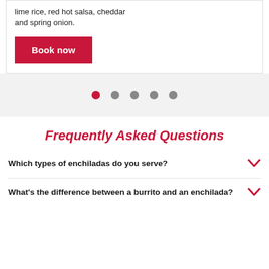lime rice, red hot salsa, cheddar and spring onion.
Book now
[Figure (other): Carousel pagination dots: one red active dot followed by four grey inactive dots]
Frequently Asked Questions
Which types of enchiladas do you serve?
What's the difference between a burrito and an enchilada?